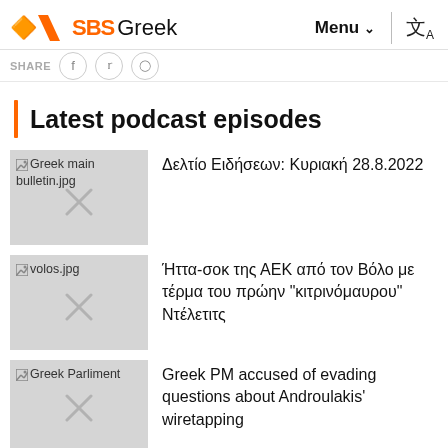SBS Greek — Menu — Translate
SHARE
Latest podcast episodes
[Figure (photo): Broken image placeholder for Greek main bulletin.jpg]
Δελτίο Ειδήσεων: Κυριακή 28.8.2022
[Figure (photo): Broken image placeholder for volos.jpg]
Ήττα-σοκ της ΑΕΚ από τον Βόλο με τέρμα του πρώην "κιτρινόμαυρου" Ντέλετιτς
[Figure (photo): Broken image placeholder for Greek Parliment]
Greek PM accused of evading questions about Androulakis' wiretapping